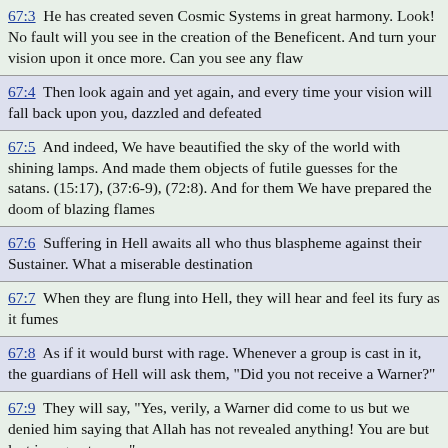67:3  He has created seven Cosmic Systems in great harmony. Look! No fault will you see in the creation of the Beneficent. And turn your vision upon it once more. Can you see any flaw
67:4  Then look again and yet again, and every time your vision will fall back upon you, dazzled and defeated
67:5  And indeed, We have beautified the sky of the world with shining lamps. And made them objects of futile guesses for the satans. (15:17), (37:6-9), (72:8). And for them We have prepared the doom of blazing flames
67:6  Suffering in Hell awaits all who thus blaspheme against their Sustainer. What a miserable destination
67:7  When they are flung into Hell, they will hear and feel its fury as it fumes
67:8  As if it would burst with rage. Whenever a group is cast in it, the guardians of Hell will ask them, "Did you not receive a Warner?"
67:9  They will say, "Yes, verily, a Warner did come to us but we denied him saying that Allah has not revealed anything! You are but lost in a great error."
67:10  And they will say, "If we really listened and used our sense, we would not be among the dwellers of the Flames."